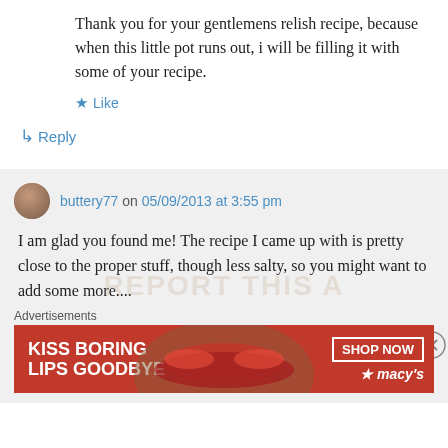Thank you for your gentlemens relish recipe, because when this little pot runs out, i will be filling it with some of your recipe.
★ Like
↳ Reply
buttery77 on 05/09/2013 at 3:55 pm
I am glad you found me! The recipe I came up with is pretty close to the proper stuff, though less salty, so you might want to add some more....
Advertisements
[Figure (other): Macy's advertisement banner with red background showing lips and text 'KISS BORING LIPS GOODBYE' with 'SHOP NOW' button and Macy's star logo]